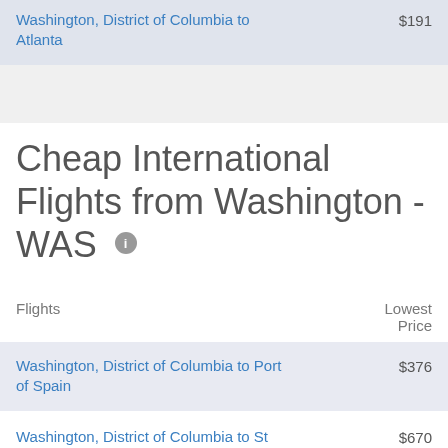| Flights | Lowest Price |
| --- | --- |
| Washington, District of Columbia to Atlanta | $191 |
Cheap International Flights from Washington - WAS
| Flights | Lowest Price |
| --- | --- |
| Washington, District of Columbia to Port of Spain | $376 |
| Washington, District of Columbia to St | $670 |